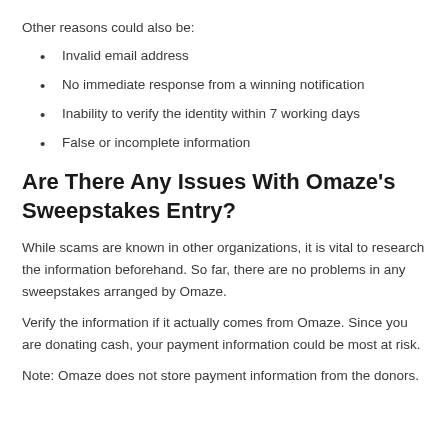Other reasons could also be:
Invalid email address
No immediate response from a winning notification
Inability to verify the identity within 7 working days
False or incomplete information
Are There Any Issues With Omaze's Sweepstakes Entry?
While scams are known in other organizations, it is vital to research the information beforehand. So far, there are no problems in any sweepstakes arranged by Omaze.
Verify the information if it actually comes from Omaze. Since you are donating cash, your payment information could be most at risk.
Note: Omaze does not store payment information from the donors.